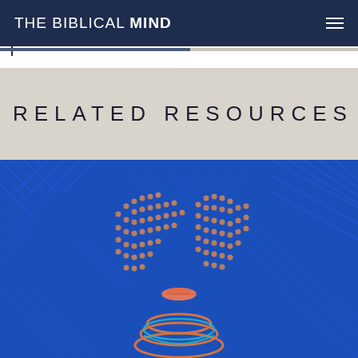THE BIBLICAL MIND
RELATED RESOURCES
[Figure (illustration): Abstract illustration of a stylized female face with dotted pattern forming the facial features against a blue geometric patterned background with orange and teal necklace accents]